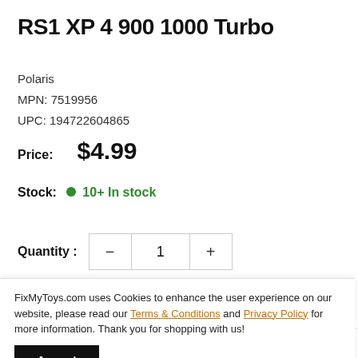RS1 XP 4 900 1000 Turbo
Polaris
MPN: 7519956
UPC: 194722604865
Price:  $4.99
Stock:  10+ In stock
Quantity :  −  1  +
FixMyToys.com uses Cookies to enhance the user experience on our website, please read our Terms & Conditions and Privacy Policy for more information. Thank you for shopping with us!
Accept
Share this product